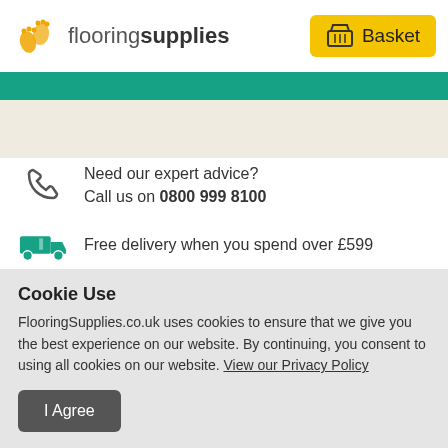[Figure (logo): FlooringSupplies logo with orange footprint icon and text 'flooringsupplies']
[Figure (other): Yellow Basket button with shopping basket icon]
Need our expert advice? Call us on 0800 999 8100
Free delivery when you spend over £599
0% Finance (approval subject to status)
Cookie Use
FlooringSupplies.co.uk uses cookies to ensure that we give you the best experience on our website. By continuing, you consent to using all cookies on our website. View our Privacy Policy
I Agree